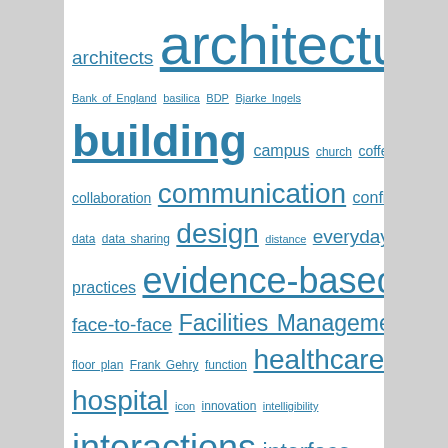[Figure (other): Tag cloud / word cloud of architecture and building-related terms in varying font sizes, all in teal/blue color on white background. Terms include: architects, architecture, atheism, Bank of England, basilica, BDP, Bjarke Ingels, building, campus, church, coffee shop, collaboration, communication, configuration, data, data sharing, design, distance, everyday practices, evidence-based design, face-to-face, Facilities Management, flexibility, floor plan, Frank Gehry, function, healthcare, hospital, icon, innovation, intelligibility, interactions, interface, laptop, learning, London, michael hopkins, movement, museum, new ways of working, nomadic working, Norman Foster, office, open-plan, open access, Open House, Orbis, outpatient clinics, people, portcullis house, proximity, public, random encounter, Rem Koolhaas, research, school, shop, Sir John Soane, social network, space, syntax, teaching, temple, tp bennett, typology, view, visualisation, Westminster, westminster palace, workplace, Zaha Hadid]